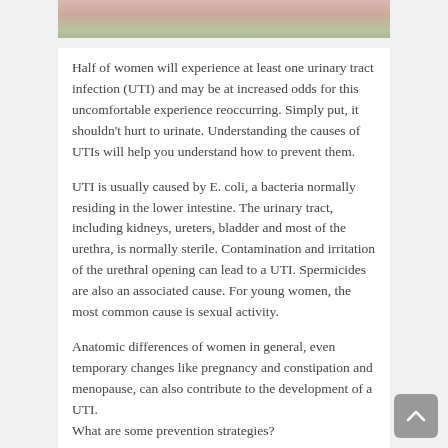[Figure (photo): Partial photo of a woman outdoors, cropped at top of page]
Half of women will experience at least one urinary tract infection (UTI) and may be at increased odds for this uncomfortable experience reoccurring. Simply put, it shouldn't hurt to urinate. Understanding the causes of UTIs will help you understand how to prevent them.
UTI is usually caused by E. coli, a bacteria normally residing in the lower intestine. The urinary tract, including kidneys, ureters, bladder and most of the urethra, is normally sterile. Contamination and irritation of the urethral opening can lead to a UTI. Spermicides are also an associated cause. For young women, the most common cause is sexual activity.
Anatomic differences of women in general, even temporary changes like pregnancy and constipation and menopause, can also contribute to the development of a UTI.
What are some prevention strategies?
For children with UTIs:
Teach proper wiping: front to back.
Teach not to hold urine more than five hours while